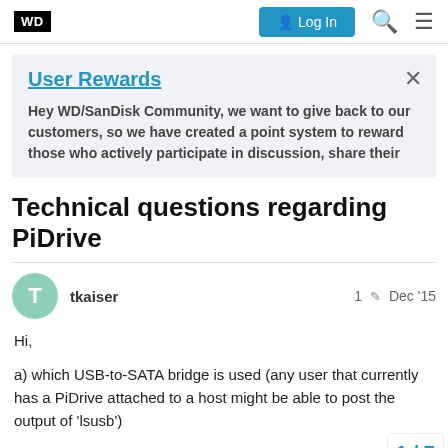WD | Log In
User Rewards
Hey WD/SanDisk Community, we want to give back to our customers, so we have created a point system to reward those who actively participate in discussion, share their
Technical questions regarding PiDrive
tkaiser  1  Dec '15
Hi,
a) which USB-to-SATA bridge is used (any user that currently has a PiDrive attached to a host might be able to post the output of 'lsusb')
b) is the USB-to-SATA bridge SAT/SMAR...
1 / 7